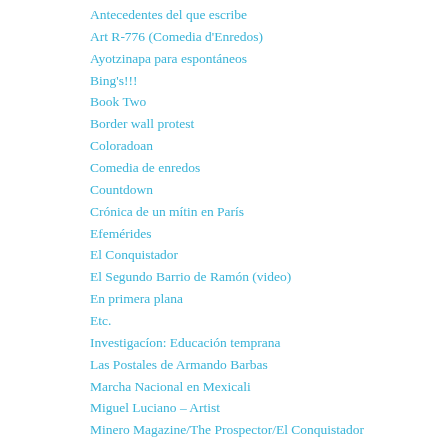Antecedentes del que escribe
Art R-776 (Comedia d'Enredos)
Ayotzinapa para espontáneos
Bing's!!!
Book Two
Border wall protest
Coloradoan
Comedia de enredos
Countdown
Crónica de un mítin en París
Efemérides
El Conquistador
El Segundo Barrio de Ramón (video)
En primera plana
Etc.
Investigacíon: Educación temprana
Las Postales de Armando Barbas
Marcha Nacional en Mexicali
Miguel Luciano – Artist
Minero Magazine/The Prospector/El Conquistador